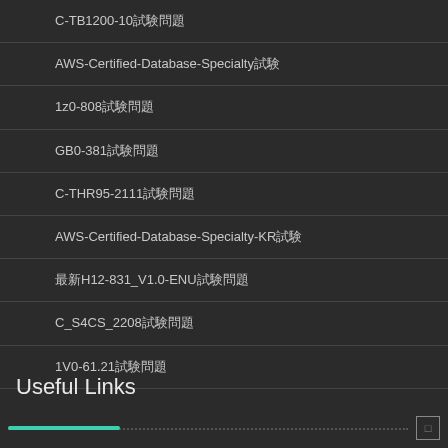C-TB1200-10試験問題
AWS-Certified-Database-Specialty試験
1z0-808試験問題
GB0-381試験問題
C-THR95-2111試験問題
AWS-Certified-Database-Specialty-KR試験
最新H12-831_V1.0-ENU試験問題
C_S4CS_2208試験問題
1V0-61.21試験問題
Useful Links